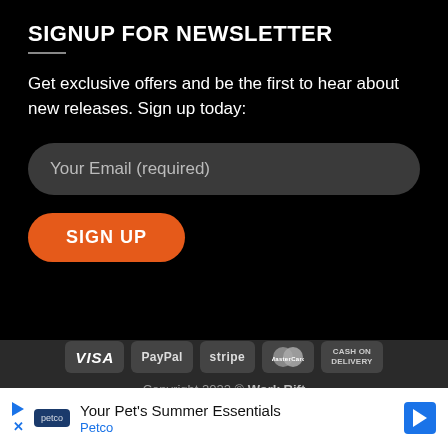SIGNUP FOR NEWSLETTER
Get exclusive offers and be the first to hear about new releases. Sign up today:
Your Email (required)
SIGN UP
[Figure (other): Payment method badges: VISA, PayPal, stripe, MasterCard, CASH ON DELIVERY]
Copyright 2022 © Work Rift
[Figure (other): Advertisement banner: Petco - Your Pet's Summer Essentials]